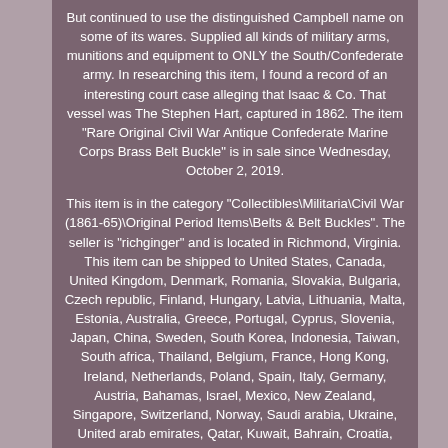But continued to use the distinguished Campbell name on some of its wares. Supplied all kinds of military arms, munitions and equipment to ONLY the South/Confederate army. In researching this item, I found a record of an interesting court case alleging that Isaac & Co. That vessel was The Stephen Hart, captured in 1862. The item "Rare Original Civil War Antique Confederate Marine Corps Brass Belt Buckle" is in sale since Wednesday, October 2, 2019.
This item is in the category "Collectibles\Militaria\Civil War (1861-65)\Original Period Items\Belts & Belt Buckles". The seller is "richginger" and is located in Richmond, Virginia. This item can be shipped to United States, Canada, United Kingdom, Denmark, Romania, Slovakia, Bulgaria, Czech republic, Finland, Hungary, Latvia, Lithuania, Malta, Estonia, Australia, Greece, Portugal, Cyprus, Slovenia, Japan, China, Sweden, South Korea, Indonesia, Taiwan, South africa, Thailand, Belgium, France, Hong Kong, Ireland, Netherlands, Poland, Spain, Italy, Germany, Austria, Bahamas, Israel, Mexico, New Zealand, Singapore, Switzerland, Norway, Saudi arabia, Ukraine, United arab emirates, Qatar, Kuwait, Bahrain, Croatia, Malaysia, Brazil, Chile, Colombia, Costa rica, Panama, Trinidad and tobago, Guatemala, Honduras, Jamaica, Viet nam, Uruguay.